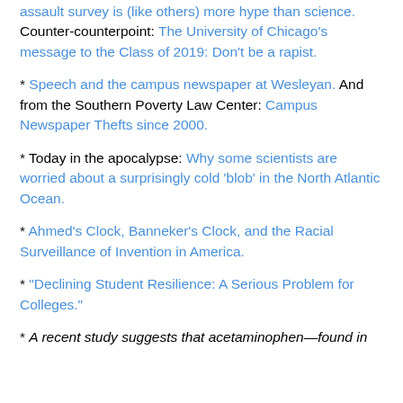assault survey is (like others) more hype than science. Counter-counterpoint: The University of Chicago's message to the Class of 2019: Don't be a rapist.
* Speech and the campus newspaper at Wesleyan. And from the Southern Poverty Law Center: Campus Newspaper Thefts since 2000.
* Today in the apocalypse: Why some scientists are worried about a surprisingly cold 'blob' in the North Atlantic Ocean.
* Ahmed's Clock, Banneker's Clock, and the Racial Surveillance of Invention in America.
* "Declining Student Resilience: A Serious Problem for Colleges."
* A recent study suggests that acetaminophen—found in